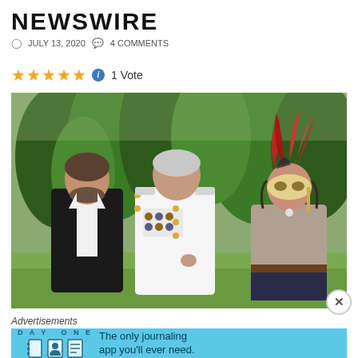NEWSWIRE
JULY 13, 2020   4 COMMENTS
★★★★★  1 Vote
[Figure (photo): Three people standing outdoors in front of trees. Left person in black tuxedo with white shirt. Center person in white naval/military uniform with medals. Right person wearing a masquerade mask with red feathers on top.]
Advertisements
[Figure (infographic): DAY ONE app advertisement on blue background. Shows three icons (notebook, person, notepad) and text: The only journaling app you'll ever need.]